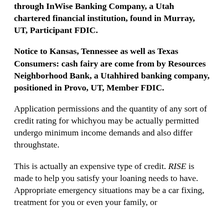through InWise Banking Company, a Utah chartered financial institution, found in Murray, UT, Participant FDIC.
Notice to Kansas, Tennessee as well as Texas Consumers: cash fairy are come from by Resources Neighborhood Bank, a Utahhired banking company, positioned in Provo, UT, Member FDIC.
Application permissions and the quantity of any sort of credit rating for whichyou may be actually permitted undergo minimum income demands and also differ throughstate.
This is actually an expensive type of credit. RISE is made to help you satisfy your loaning needs to have. Appropriate emergency situations may be a car fixing, treatment for you or even your family, or